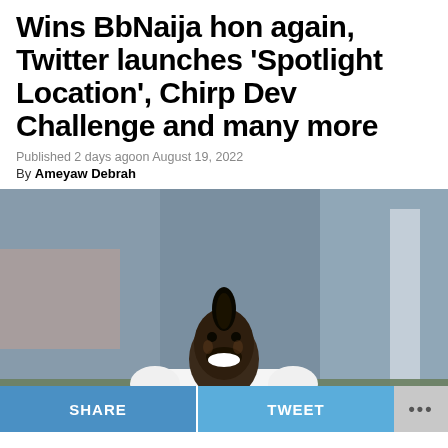Wins BbNaija hon again, Twitter launches ‘Spotlight Location’, Chirp Dev Challenge and many more
Published 2 days agoon August 19, 2022
By Ameyaw Debrah
[Figure (photo): A smiling Black male soccer player in a white Ghana national team jersey with PUMA logo, celebrating on the pitch. Blurred stadium background.]
SHARE   TWEET   ...